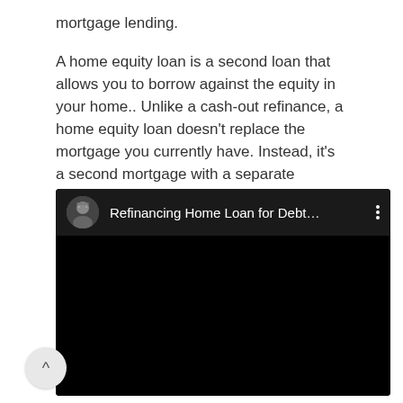mortgage lending.
A home equity loan is a second loan that allows you to borrow against the equity in your home.. Unlike a cash-out refinance, a home equity loan doesn't replace the mortgage you currently have. Instead, it's a second mortgage with a separate payment.
[Figure (screenshot): Embedded YouTube video player showing a video titled 'Refinancing Home Loan for Debt...' with a circular avatar of a man with glasses on the left and a three-dot menu icon on the right. The video area is black.]